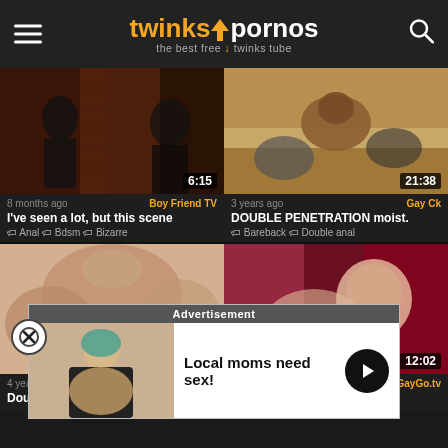twinkspornos — the best free twinks tube
[Figure (screenshot): Video thumbnail 1 - dark BDSM scene, duration 6:15]
8 months ago  Boy Friend TV
I've seen a lot, but this scene
Anal  Bdsm  Bizarre
[Figure (screenshot): Video thumbnail 2 - sexual scene, duration 21:38]
3 years ago  Gay Ck
DOUBLE PENETRATION moist.
Bareback  Double anal
[Figure (screenshot): Video thumbnail 3 - close-up scene]
[Figure (screenshot): Video thumbnail 4 - sex scene, duration 12:02]
4 years ago  GayGo.tv
Double...
[Figure (photo): Advertisement popup: Local moms need sex! with woman photo and arrow button. Header: Advertisement]